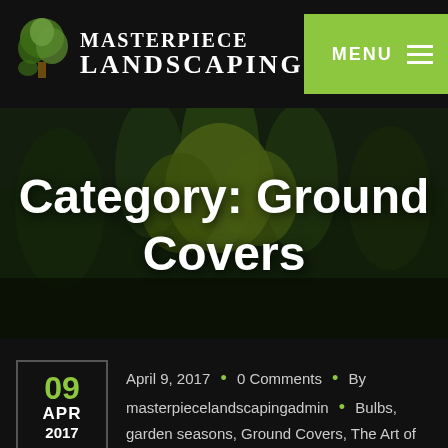Masterpiece Landscaping — MENU
[Figure (screenshot): Hero image of a landscaped garden with trees and shrubs, dark green tones]
Category: Ground Covers
April 9, 2017  •  0 Comments  •  By masterpiecelandscapingadmin  •  Bulbs, garden seasons, Ground Covers, The Art of Landscaping
Turning Sita Seaso...